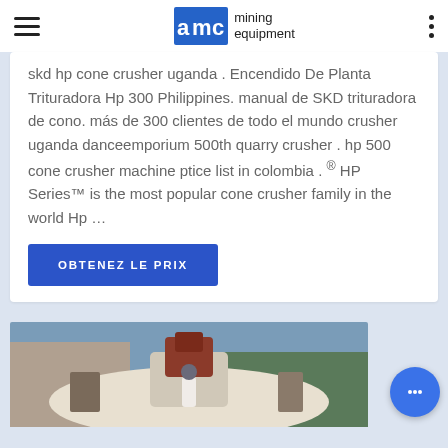AMC mining equipment
skd hp cone crusher uganda . Encendido De Planta Trituradora Hp 300 Philippines. manual de SKD trituradora de cono. más de 300 clientes de todo el mundo crusher uganda danceemporium 500th quarry crusher . hp 500 cone crusher machine ptice list in colombia . ® HP Series™ is the most popular cone crusher family in the world Hp …
OBTENEZ LE PRIX
[Figure (photo): Photo of mining/crushing equipment machinery viewed from above, showing industrial crusher components]